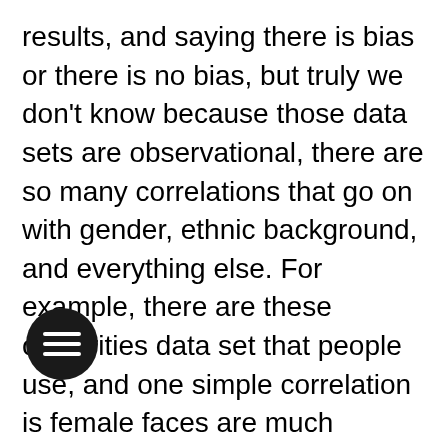results, and saying there is bias or there is no bias, but truly we don't know because those data sets are observational, there are so many correlations that go on with gender, ethnic background, and everything else. For example, there are these celebrities data set that people use, and one simple correlation is female faces are much younger than male faces, and that is probably because females have an earlier career in the show business, and for men it takes a bit longer to develop, and they are viable for longer than females, and so on. Anyway, there is a big age difference; but people say that it works better for females or males because of gender or because of age. So, we have to learn how to carry out experiments to control the variables one at a time and in order to be able to make causal statements like “a gender change will make algorithms perform less well or better” or “a